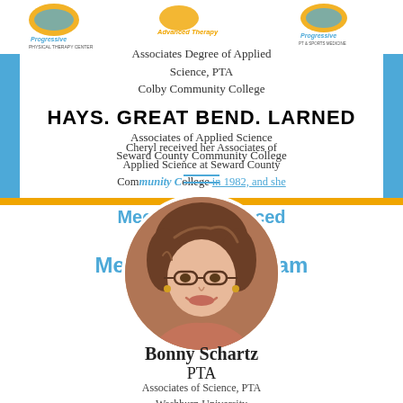[Figure (logo): Progressive Physical Therapy Center logo and Advanced Therapy logos]
Associates Degree of Applied Science, PTA
Colby Community College
HAYS. GREAT BEND. LARNED
Associates of Applied Science
Seward County Community College
Cheryl received her Associates of Applied Science at Seward County Community College in 1982, and she
Meet The Advanced Therapy & Sports Medicine Advanced Team
[Figure (photo): Circular portrait photo of Bonny Schartz, a woman with short brown hair and glasses, smiling]
Bonny Schartz
PTA
Associates of Science, PTA
Washburn University